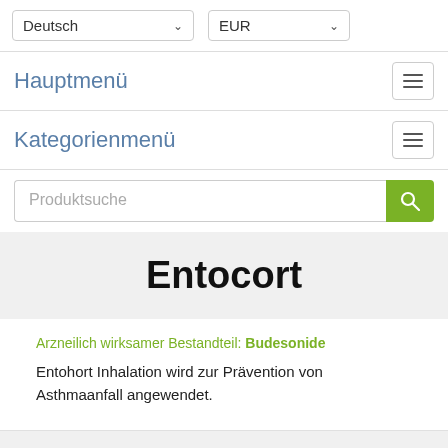Deutsch | EUR
Hauptmenü
Kategorienmenü
Produktsuche
Entocort
Arzneilich wirksamer Bestandteil: Budesonide
Entohort Inhalation wird zur Prävention von Asthmaanfall angewendet.
Andere Namen von dieser Medikamente
Anleitung zur Entocort